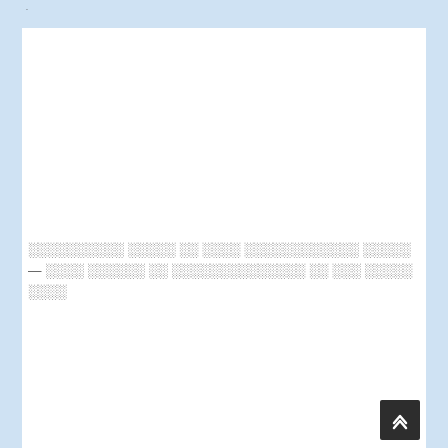·
░░░░░░░░░░ ░░░░░ ░░ ░░░░ ░░░░░░░░░░░░ ░░░░░ — ░░░░ ░░░░░░ ░░ ░░░░░░░░░░░░░░ ░░ ░░░ ░░░░░ ░░░░